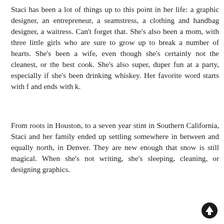Staci has been a lot of things up to this point in her life: a graphic designer, an entrepreneur, a seamstress, a clothing and handbag designer, a waitress. Can't forget that. She's also been a mom, with three little girls who are sure to grow up to break a number of hearts. She's been a wife, even though she's certainly not the cleanest, or the best cook. She's also super, duper fun at a party, especially if she's been drinking whiskey. Her favorite word starts with f and ends with k.
From roots in Houston, to a seven year stint in Southern California, Staci and her family ended up settling somewhere in between and equally north, in Denver. They are new enough that snow is still magical. When she's not writing, she's sleeping, cleaning, or designing graphics.
[Figure (other): Up arrow icon (circle with upward pointing arrow) in bottom right corner]